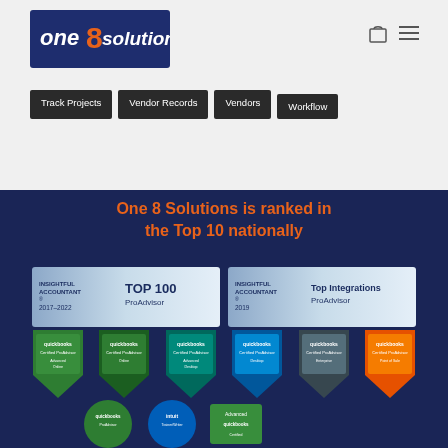[Figure (logo): One 8 Solutions logo with orange '8' numeral and dark navy text]
[Figure (other): Shopping bag and hamburger menu icons top right]
Track Projects
Vendor Records
Vendors
Workflow
One 8 Solutions is ranked in the Top 10 nationally
[Figure (other): Insightful Accountant TOP 100 ProAdvisor 2017-2022 badge]
[Figure (other): Insightful Accountant Top Integrations ProAdvisor 2019 badge]
[Figure (other): Six QuickBooks Certified ProAdvisor shield badges in various specializations]
[Figure (other): Additional partial badges row including QuickBooks ProAdvisor, Intuit Trainer/Writer, and Advanced QuickBooks badges]